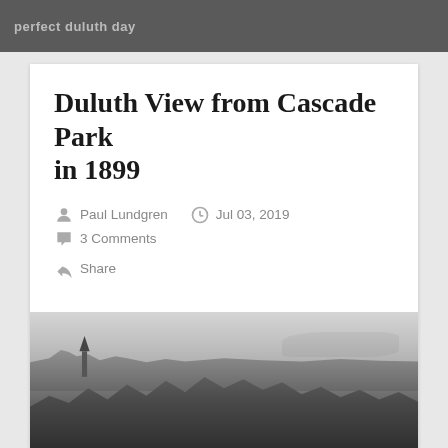perfect duluth day
Duluth View from Cascade Park in 1899
Paul Lundgren  Jul 03, 2019  3 Comments  Share
[Figure (photo): Black and white photograph showing a panoramic view of Duluth from Cascade Park in 1899, with a church steeple visible on the left, city buildings in the middle distance, Lake Superior and a harbor/canal visible in the background, and dense tree foliage in the foreground.]